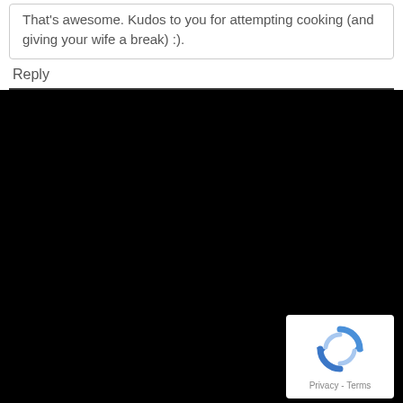That's awesome. Kudos to you for attempting cooking (and giving your wife a break) :).
Reply
[Figure (other): Large black area filling the bottom portion of the page, with a reCAPTCHA badge widget in the lower right corner showing the reCAPTCHA logo and Privacy - Terms text.]